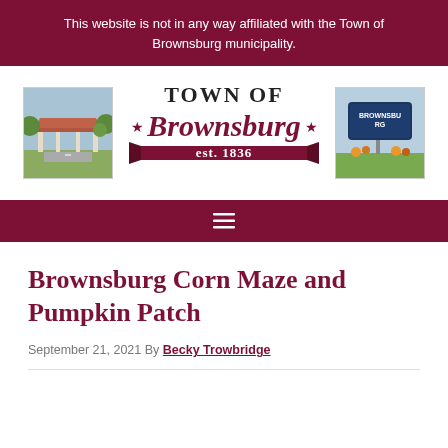This website is not in any way affiliated with the Town of Brownsburg municipality.
[Figure (logo): Town of Brownsburg logo with two flanking photos — left: a park pavilion, right: Brownsburg town sign. Center logo reads 'TOWN OF Brownsburg est. 1836' in maroon with a banner ribbon.]
[Figure (other): Navigation bar with hamburger menu icon (three horizontal lines) on dark maroon background.]
Brownsburg Corn Maze and Pumpkin Patch
September 21, 2021 By Becky Trowbridge